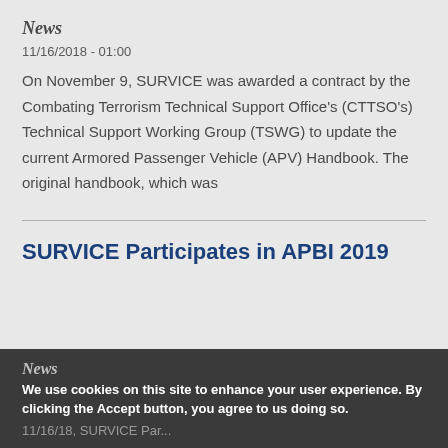News
11/16/2018 - 01:00
On November 9, SURVICE was awarded a contract by the Combating Terrorism Technical Support Office's (CTTSO's) Technical Support Working Group (TSWG) to update the current Armored Passenger Vehicle (APV) Handbook. The original handbook, which was
SURVICE Participates in APBI 2019
News
We use cookies on this site to enhance your user experience. By clicking the Accept button, you agree to us doing so.
11/16/2018